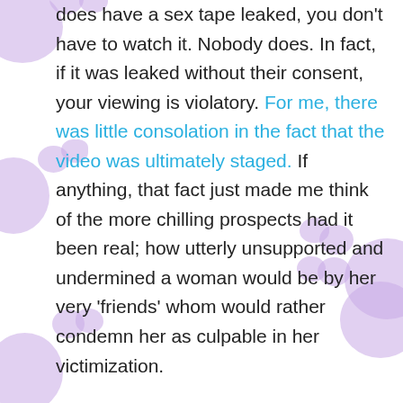does have a sex tape leaked, you don't have to watch it. Nobody does. In fact, if it was leaked without their consent, your viewing is violatory. For me, there was little consolation in the fact that the video was ultimately staged. If anything, that fact just made me think of the more chilling prospects had it been real; how utterly unsupported and undermined a woman would be by her very 'friends' whom would rather condemn her as culpable in her victimization.

It all made me think of how and why I've always hated LHHATL the most: because, it's got the ashiest characters whom reinforce the ashiest stereotypes. I know Love & Hip-Hop is already chalk full of slut shaming, internalized